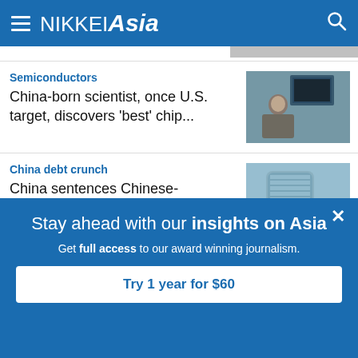NIKKEI Asia
Semiconductors
China-born scientist, once U.S. target, discovers 'best' chip...
[Figure (photo): Man seated at desk with monitors in background]
China debt crunch
China sentences Chinese-Canadian billionaire Xiao to 13...
[Figure (photo): Glass office building exterior]
Stay ahead with our insights on Asia
Get full access to our award winning journalism.
Try 1 year for $60